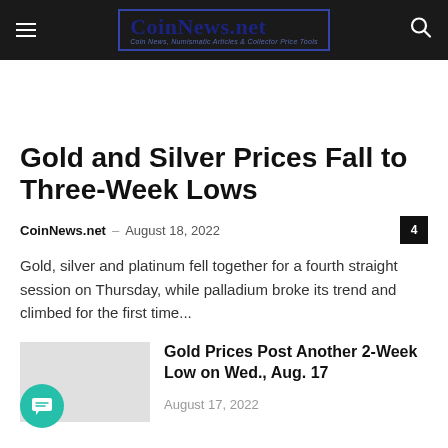CoinNews.net — Coin News, Numismatic Articles & Collector Price Tools
Gold and Silver Prices Fall to Three-Week Lows
CoinNews.net – August 18, 2022
Gold, silver and platinum fell together for a fourth straight session on Thursday, while palladium broke its trend and climbed for the first time...
Gold Prices Post Another 2-Week Low on Wed., Aug. 17
August 17, 2022